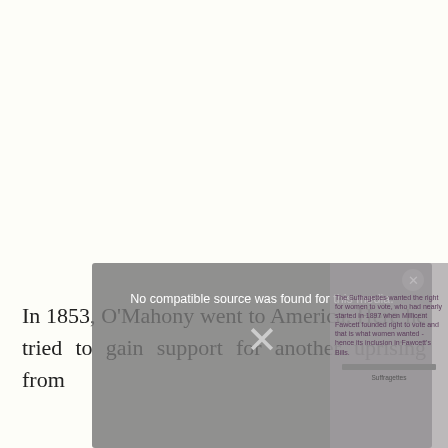In 1853, O'Mahony went to America. Here he tried to gain support for another uprising from
[Figure (screenshot): A video player overlay showing 'No compatible source was found for this media.' message in grey, with a close button (×) in the top right corner, and a partially visible thumbnail/panel on the right side showing text about Suffragettes and Millicent Fawcett, with a progress bar and label at the bottom.]